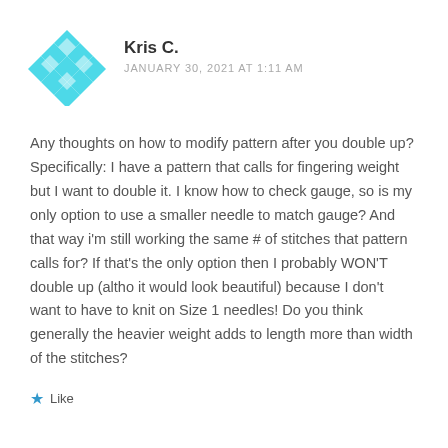[Figure (illustration): Teal/cyan diamond/rhombus pattern avatar icon for user Kris C.]
Kris C.
JANUARY 30, 2021 AT 1:11 AM
Any thoughts on how to modify pattern after you double up? Specifically: I have a pattern that calls for fingering weight but I want to double it. I know how to check gauge, so is my only option to use a smaller needle to match gauge? And that way i'm still working the same # of stitches that pattern calls for? If that's the only option then I probably WON'T double up (altho it would look beautiful) because I don't want to have to knit on Size 1 needles! Do you think generally the heavier weight adds to length more than width of the stitches?
Like